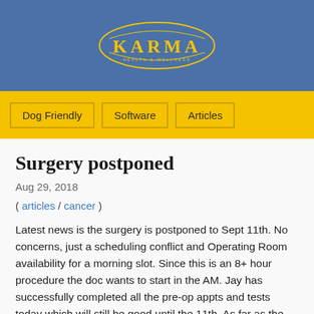[Figure (logo): KARMA website logo — yellow oval outline with 'KARMA' text in yellow on blue background]
Dog Friendly | Software | Articles
Surgery postponed
Aug 29, 2018
( articles / cancer )
Latest news is the surgery is postponed to Sept 11th. No concerns, just a scheduling conflict and Operating Room availability for a morning slot. Since this is an 8+ hour procedure the doc wants to start in the AM. Jay has successfully completed all the pre-op appts and tests today which will still be good until the 11th. As far as the diagnosis is concerned the doc is leaning more towards this being bile duct cancer, than pancreas cancer. However, we will not have a definite point of origin until the